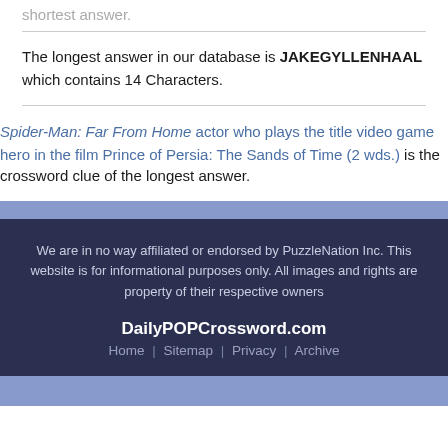shortest answer.
The longest answer in our database is JAKEGYLLENHAAL which contains 14 Characters.
Spider-Man: Far From Home actor who plays the title video game hero in the film Prince of Persia: The Sands of Time (2 wds.) is the crossword clue of the longest answer.
We are in no way affiliated or endorsed by PuzzleNation Inc. This website is for informational purposes only. All images and rights are property of their respective owners
DailyPOPCrossword.com
Home | Sitemap | Privacy | Archive